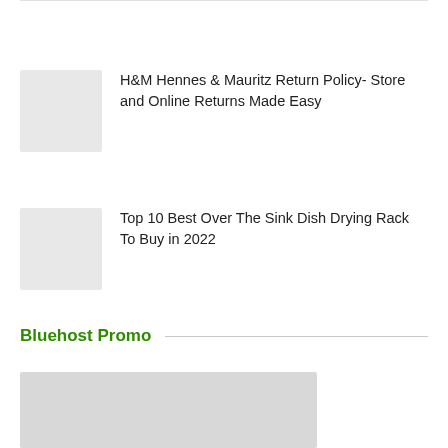H&M Hennes & Mauritz Return Policy- Store and Online Returns Made Easy
Top 10 Best Over The Sink Dish Drying Rack To Buy in 2022
Bluehost Promo
[Figure (photo): Bluehost promo image placeholder (gray rectangle)]